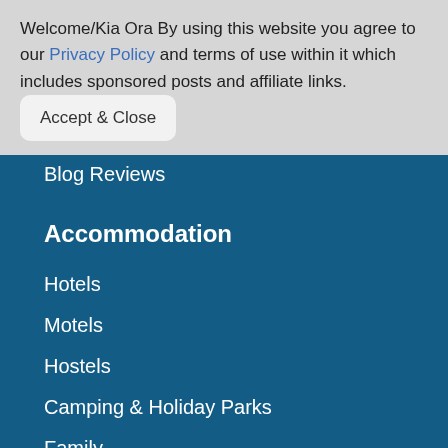Welcome/Kia Ora By using this website you agree to our Privacy Policy and terms of use within it which includes sponsored posts and affiliate links. Accept & Close
Blog Reviews
Accommodation
Hotels
Motels
Hostels
Camping & Holiday Parks
Family
Luxury Accommodations
Romantic